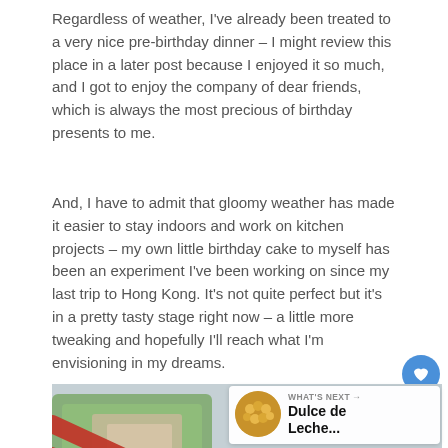Regardless of weather, I've already been treated to a very nice pre-birthday dinner – I might review this place in a later post because I enjoyed it so much, and I got to enjoy the company of dear friends, which is always the most precious of birthday presents to me.
And, I have to admit that gloomy weather has made it easier to stay indoors and work on kitchen projects – my own little birthday cake to myself has been an experiment I've been working on since my last trip to Hong Kong. It's not quite perfect but it's in a pretty tasty stage right now – a little more tweaking and hopefully I'll reach what I'm envisioning in my dreams.
[Figure (photo): Photo of a small white cylindrical dessert/cake topped with dark tea leaves, with red chopsticks resting across it, and a green plate with food in the background. The image is partially cropped.]